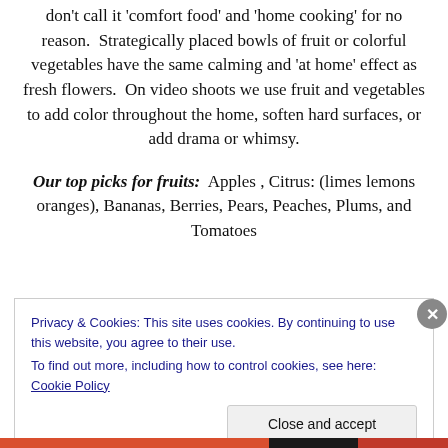don't call it 'comfort food' and 'home cooking' for no reason. Strategically placed bowls of fruit or colorful vegetables have the same calming and 'at home' effect as fresh flowers. On video shoots we use fruit and vegetables to add color throughout the home, soften hard surfaces, or add drama or whimsy.
Our top picks for fruits: Apples , Citrus: (limes lemons oranges), Bananas, Berries, Pears, Peaches, Plums, and Tomatoes
Privacy & Cookies: This site uses cookies. By continuing to use this website, you agree to their use.
To find out more, including how to control cookies, see here: Cookie Policy